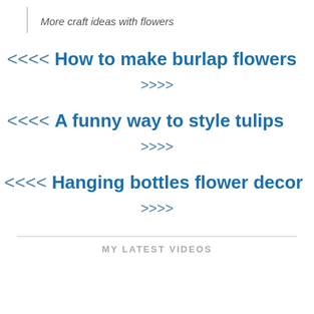More craft ideas with flowers
<<<< How to make burlap flowers
>>>>
<<<< A funny way to style tulips
>>>>
<<<< Hanging bottles flower decor
>>>>
MY LATEST VIDEOS